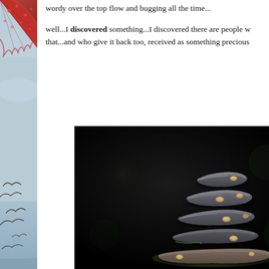wordy over the top flow and bugging all the time...
well...I discovered something...I discovered there are people w that...and who give it back too, received as something precious
[Figure (photo): Left side column showing a partial view of a red patterned object at the top and birds (likely seabirds) in flight at the bottom against a blue-grey sky background]
[Figure (photo): A stack of flat grey stones balanced on top of each other, shot against a dark/black background with bokeh effect. Small snails or mollusks appear to cling to the edges of the stones.]